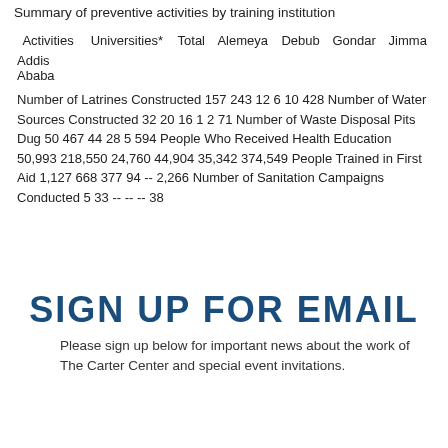Summary of preventive activities by training institution
| Activities | Universities* | Total | Alemeya | Debub | Gondar | Jimma | Addis Ababa |
| --- | --- | --- | --- | --- | --- | --- | --- |
| Number of Latrines Constructed | 157 | 243 | 12 | 6 | 10 | 428 |  |
| Number of Water Sources Constructed | 32 | 20 | 16 | 1 | 2 | 71 |  |
| Number of Waste Disposal Pits Dug | 50 | 467 | 44 | 28 | 5 | 594 |  |
| People Who Received Health Education | 50,993 | 218,550 | 24,760 | 44,904 | 35,342 | 374,549 |  |
| People Trained in First Aid | 1,127 | 668 | 377 | 94 | -- | 2,266 |  |
| Number of Sanitation Campaigns Conducted | 5 | 33 | -- | -- | -- | 38 |  |
SIGN UP FOR EMAIL
Please sign up below for important news about the work of The Carter Center and special event invitations.